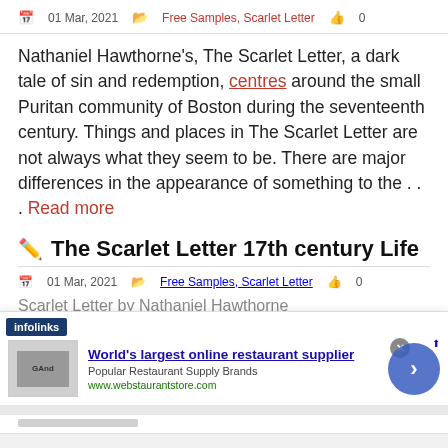01 Mar, 2021   Free Samples, Scarlet Letter   0
Nathaniel Hawthorne's, The Scarlet Letter, a dark tale of sin and redemption, centres around the small Puritan community of Boston during the seventeenth century. Things and places in The Scarlet Letter are not always what they seem to be. There are major differences in the appearance of something to the . . . Read more
The Scarlet Letter 17th century Life
01 Mar, 2021   Free Samples, Scarlet Letter   0
Scarlet Letter by Nathaniel Hawthorne
[Figure (screenshot): Advertisement overlay: infolinks bar, ad for webstaurantstore.com with title 'World's largest online restaurant supplier', subtitle 'Popular Restaurant Supply Brands', URL 'www.webstaurantstore.com', with a close button and forward arrow button.]